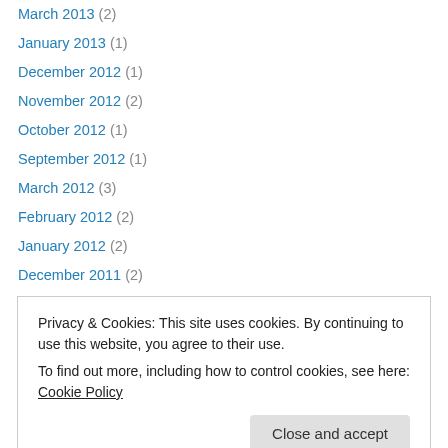March 2013 (2)
January 2013 (1)
December 2012 (1)
November 2012 (2)
October 2012 (1)
September 2012 (1)
March 2012 (3)
February 2012 (2)
January 2012 (2)
December 2011 (2)
October 2011 (1)
September 2011 (2)
August 2011 (2)
Privacy & Cookies: This site uses cookies. By continuing to use this website, you agree to their use. To find out more, including how to control cookies, see here: Cookie Policy
Search Healing Chronicles